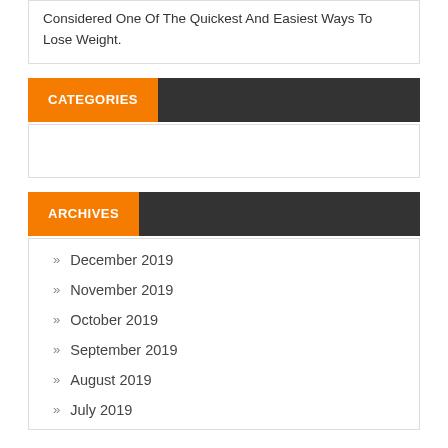Detox Drinks That Help Lose Weight Detox Drinks Are Considered One Of The Quickest And Easiest Ways To Lose Weight.
CATEGORIES
ARCHIVES
December 2019
November 2019
October 2019
September 2019
August 2019
July 2019